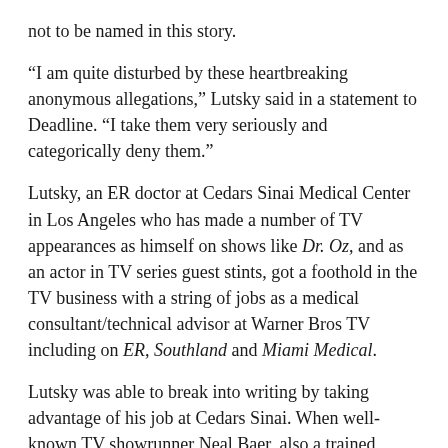not to be named in this story.
“I am quite disturbed by these heartbreaking anonymous allegations,” Lutsky said in a statement to Deadline. “I take them very seriously and categorically deny them.”
Lutsky, an ER doctor at Cedars Sinai Medical Center in Los Angeles who has made a number of TV appearances as himself on shows like Dr. Oz, and as an actor in TV series guest stints, got a foothold in the TV business with a string of jobs as a medical consultant/technical advisor at Warner Bros TV including on ER, Southland and Miami Medical.
Lutsky was able to break into writing by taking advantage of his job at Cedars Sinai. When well-known TV showrunner Neal Baer, also a trained medical doctor, went to the Cedars ER with severe gallbladder-related pain, Lutsky sought him out and introduced himself, telling Baer that he wanted to be a writer. Baer ended up having his gallbladder removed and, while in the recovery room, was visited again by Lutsky who handed him a script. The ballsy